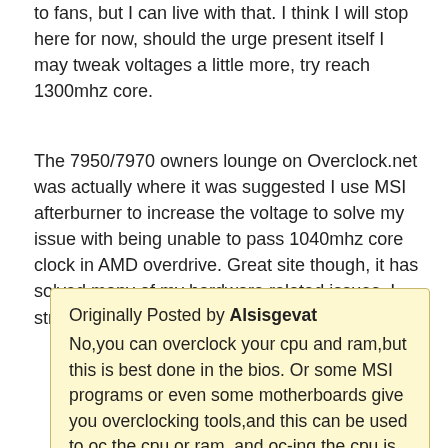to fans, but I can live with that. I think I will stop here for now, should the urge present itself I may tweak voltages a little more, try reach 1300mhz core.
The 7950/7970 owners lounge on Overclock.net was actually where it was suggested I use MSI afterburner to increase the voltage to solve my issue with being unable to pass 1040mhz core clock in AMD overdrive. Great site though, it has solved many of my hardware related issues, I strongly recommend it.
Originally Posted by Alsisgevat
No,you can overclock your cpu and ram,but this is best done in the bios. Or some MSI programs or even some motherboards give you overclocking tools,and this can be used to oc the cpu or ram, and oc-ing the cpu is allot more fun 😊